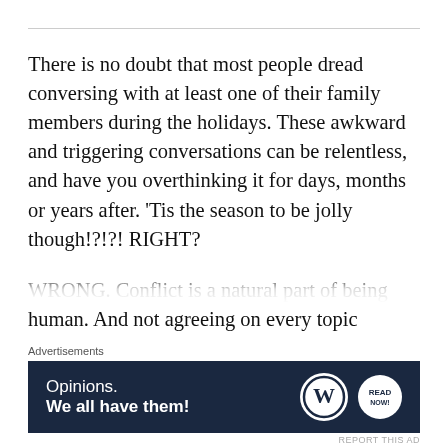There is no doubt that most people dread conversing with at least one of their family members during the holidays. These awkward and triggering conversations can be relentless, and have you overthinking it for days, months or years after. 'Tis the season to be jolly though!?!?! RIGHT?
WRONG. Conflict is a natural part of being human. And not agreeing on every topic including health, politics, education and more
[Figure (other): Advertisement banner with dark navy background showing 'Opinions. We all have them!' text with WordPress and Blog Now logos]